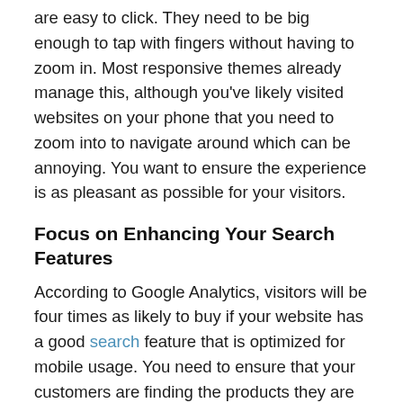are easy to click. They need to be big enough to tap with fingers without having to zoom in. Most responsive themes already manage this, although you've likely visited websites on your phone that you need to zoom into to navigate around which can be annoying. You want to ensure the experience is as pleasant as possible for your visitors.
Focus on Enhancing Your Search Features
According to Google Analytics, visitors will be four times as likely to buy if your website has a good search feature that is optimized for mobile usage. You need to ensure that your customers are finding the products they are looking for with just one search of your site. Use word suggestion, auto-finish and pull-down options in your search function. Two great plugins for search optimization with WooCommerce sites is Recommendation